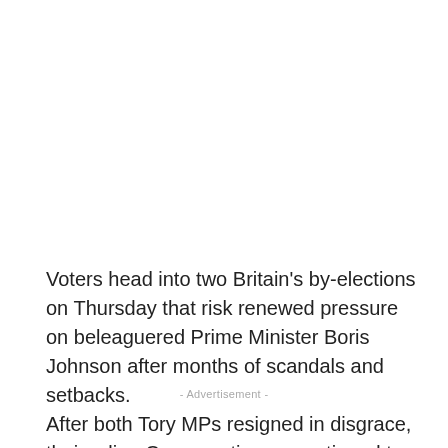Voters head into two Britain's by-elections on Thursday that risk renewed pressure on beleaguered Prime Minister Boris Johnson after months of scandals and setbacks.
- Advertisement -
After both Tory MPs resigned in disgrace, their ruling Conservatives were tipped to lose both contests, for the parliamentary seats of Tiverton and Honiton in south-west